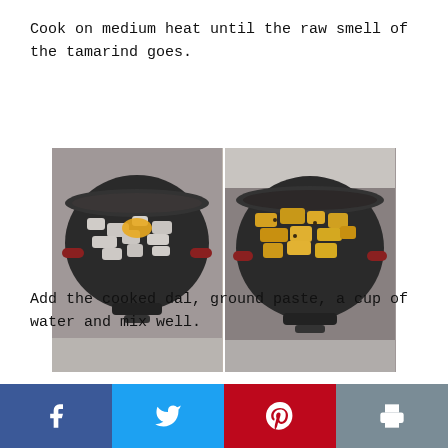Cook on medium heat until the raw smell of the tamarind goes.
[Figure (photo): Two side-by-side photos of a cooking pot on a stove: left shows raw chopped ingredients with turmeric powder, right shows the same ingredients cooked and turned yellow/golden.]
Add the cooked dal, ground paste, a cup of water and mix well.
[Figure (photo): Two side-by-side photos of a dark pan on a stove, partially visible at the bottom of the page.]
Facebook Twitter Pinterest Print